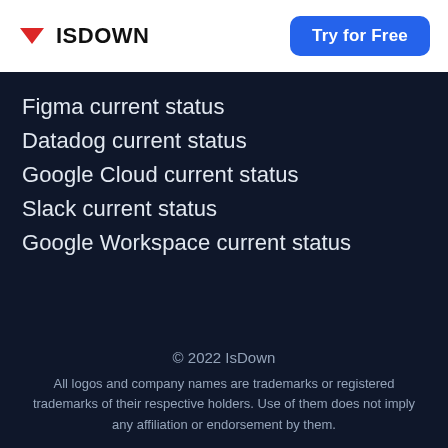ISDOWN | Try for Free
Figma current status
Datadog current status
Google Cloud current status
Slack current status
Google Workspace current status
© 2022 IsDown
All logos and company names are trademarks or registered trademarks of their respective holders. Use of them does not imply any affiliation or endorsement by them.